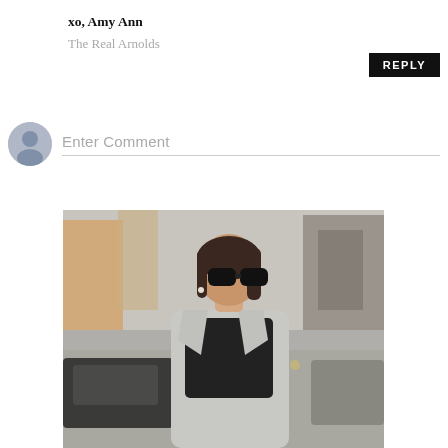xo, Amy Ann
The Real Arnolds
REPLY
[Figure (other): Comment input area with placeholder text 'Enter Comment' and a generic user avatar icon on the left]
[Figure (photo): Street style photo of a woman with short brown hair wearing large black sunglasses and a grey coat, standing on an urban street with blurred cars and buildings in the background]